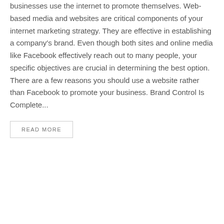businesses use the internet to promote themselves. Web-based media and websites are critical components of your internet marketing strategy. They are effective in establishing a company's brand. Even though both sites and online media like Facebook effectively reach out to many people, your specific objectives are crucial in determining the best option. There are a few reasons you should use a website rather than Facebook to promote your business. Brand Control Is Complete...
READ MORE